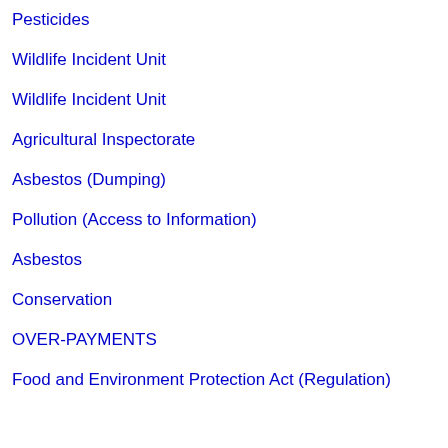Pesticides
Wildlife Incident Unit
Wildlife Incident Unit
Agricultural Inspectorate
Asbestos (Dumping)
Pollution (Access to Information)
Asbestos
Conservation
OVER-PAYMENTS
Food and Environment Protection Act (Regulation)